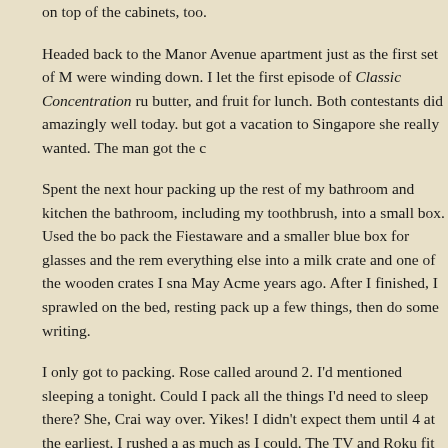on top of the cabinets, too.
Headed back to the Manor Avenue apartment just as the first set of M were winding down. I let the first episode of Classic Concentration ru butter, and fruit for lunch. Both contestants did amazingly well today. but got a vacation to Singapore she really wanted. The man got the c
Spent the next hour packing up the rest of my bathroom and kitchen the bathroom, including my toothbrush, into a small box. Used the bo pack the Fiestaware and a smaller blue box for glasses and the rem everything else into a milk crate and one of the wooden crates I sna May Acme years ago. After I finished, I sprawled on the bed, resting pack up a few things, then do some writing.
I only got to packing. Rose called around 2. I'd mentioned sleeping a tonight. Could I pack all the things I'd need to sleep there? She, Crai way over. Yikes! I didn't expect them until 4 at the earliest. I rushed a as much as I could. The TV and Roku fit into one bag, the bed linens another. Grabbed the laundry bag, basket, and detergent to get that came the first time, I threw the remaining food into a bag and a Styro shoes, pajamas, journal, crocheting project, and various odds and e Grabbed the lamps and remote controls, too.